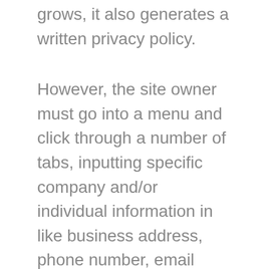grows, it also generates a written privacy policy.
However, the site owner must go into a menu and click through a number of tabs, inputting specific company and/or individual information in like business address, phone number, email contact, etc. There are a small number of other steps we must take before the process is complete. The combination of the error page's messages, and some general menu snooping, leads us to create the policy reference file without too much work.
The finished files can be saved to their respective folders on your server, as described earlier